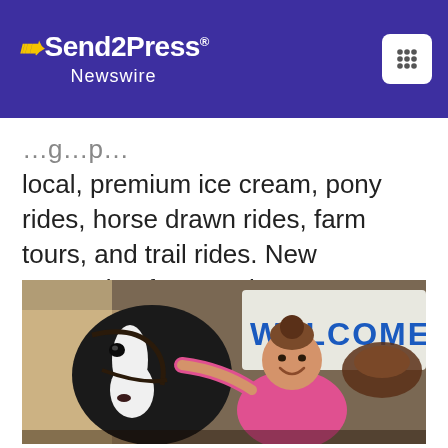Send2Press Newswire
local, premium ice cream, pony rides, horse drawn rides, farm tours, and trail rides. New expansion features ice cream flavors named after horses!
[Figure (photo): A smiling woman in a pink shirt standing next to a black and white horse inside a barn. A banner reading WELCOME is visible in the background.]